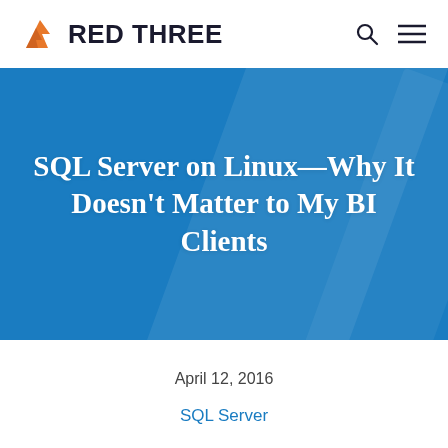RED THREE
SQL Server on Linux—Why It Doesn't Matter to My BI Clients
April 12, 2016
SQL Server